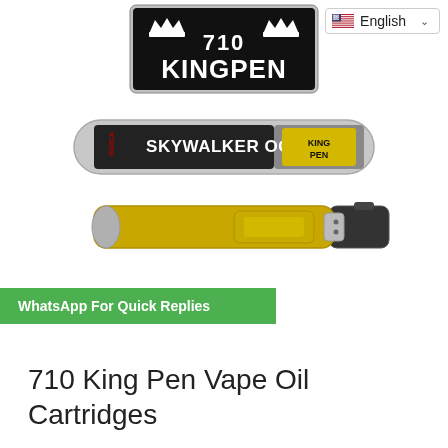[Figure (logo): 710 KingPen brand logo — black shield shape with crown and text '710 KINGPEN' in white gothic font]
[Figure (photo): Product photo showing a 710 KingPen Skywalker OG vape cartridge in tube packaging (top) and a gold/silver vape cartridge with pen battery (bottom)]
WhatsApp For Quick Replies
English
710 King Pen Vape Oil Cartridges